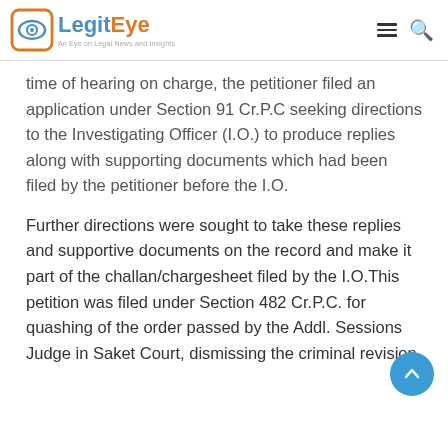LegitEye — An Eye on Legal News and Insights
time of hearing on charge, the petitioner filed an application under Section 91 Cr.P.C seeking directions to the Investigating Officer (I.O.) to produce replies along with supporting documents which had been filed by the petitioner before the I.O.
Further directions were sought to take these replies and supportive documents on the record and make it part of the challan/chargesheet filed by the I.O.This petition was filed under Section 482 Cr.P.C. for quashing of the order passed by the Addl. Sessions Judge in Saket Court, dismissing the criminal revision